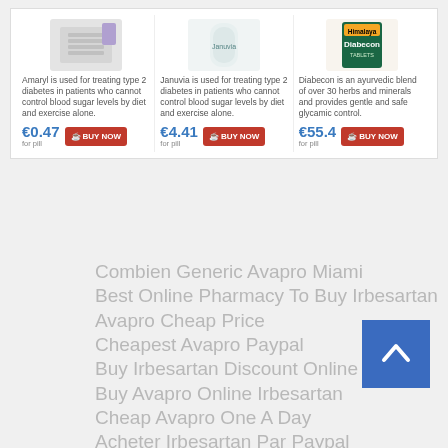[Figure (other): Product card strip showing three diabetes medications: Amaryl (€0.47/pill), Januvia (€4.41/pill), Diabecon (€55.4/pill), each with a BUY NOW button]
Combien Generic Avapro Miami
Best Online Pharmacy To Buy Irbesartan
Avapro Cheap Price
Cheapest Avapro Paypal
Buy Irbesartan Discount Online
Buy Avapro Online Irbesartan
Cheap Avapro One A Day
Acheter Irbesartan Par Paypal
Buy Irbesartan No Prescription Paypal
Quel Site Acheter Avapro
Generic Irbesartan Cost
Combien Cheap Avapro Miami
Irbesartan Purchase Online
Beställ Cheap Avapro Europe
Buy Brand Avapro Online